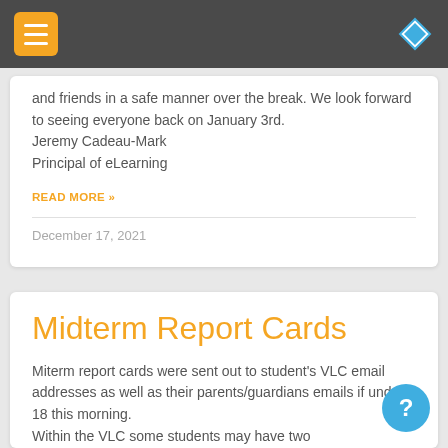Navigation bar with hamburger menu and diamond icon
and friends in a safe manner over the break. We look forward to seeing everyone back on January 3rd.
Jeremy Cadeau-Mark
Principal of eLearning
READ MORE »
December 17, 2021
Midterm Report Cards
Miterm report cards were sent out to student's VLC email addresses as well as their parents/guardians emails if under 18 this morning.
Within the VLC some students may have two